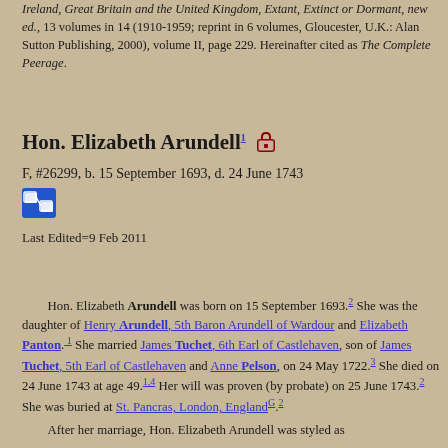Ireland, Great Britain and the United Kingdom, Extant, Extinct or Dormant, new ed., 13 volumes in 14 (1910-1959; reprint in 6 volumes, Gloucester, U.K.: Alan Sutton Publishing, 2000), volume II, page 229. Hereinafter cited as The Complete Peerage.
Hon. Elizabeth Arundell
F, #26299, b. 15 September 1693, d. 24 June 1743
Last Edited=9 Feb 2011
Hon. Elizabeth Arundell was born on 15 September 1693. She was the daughter of Henry Arundell, 5th Baron Arundell of Wardour and Elizabeth Panton. She married James Tuchet, 6th Earl of Castlehaven, son of James Tuchet, 5th Earl of Castlehaven and Anne Pelson, on 24 May 1722. She died on 24 June 1743 at age 49. Her will was proven (by probate) on 25 June 1743. She was buried at St. Pancras, London, England. After her marriage, Hon. Elizabeth Arundell was styled as